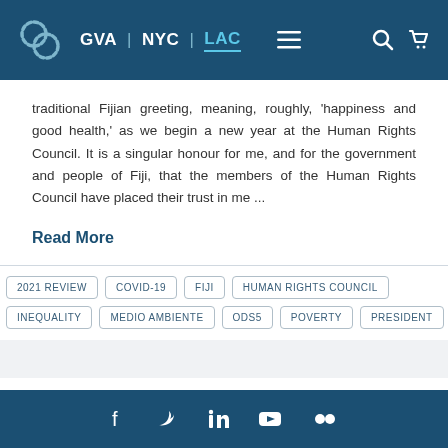GVA | NYC | LAC
traditional Fijian greeting, meaning, roughly, 'happiness and good health,' as we begin a new year at the Human Rights Council. It is a singular honour for me, and for the government and people of Fiji, that the members of the Human Rights Council have placed their trust in me ...
Read More
2021 REVIEW
COVID-19
FIJI
HUMAN RIGHTS COUNCIL
INEQUALITY
MEDIO AMBIENTE
ODS5
POVERTY
PRESIDENT
f  Twitter  in  YouTube  Flickr